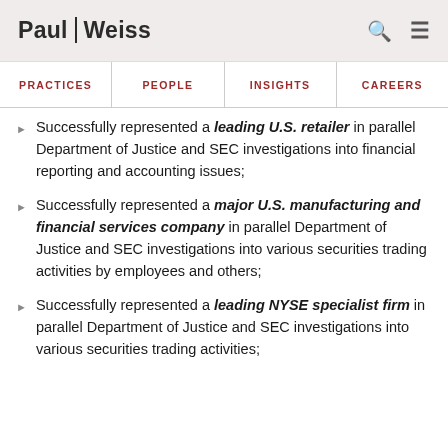Paul Weiss
PRACTICES | PEOPLE | INSIGHTS | CAREERS
Successfully represented a leading U.S. retailer in parallel Department of Justice and SEC investigations into financial reporting and accounting issues;
Successfully represented a major U.S. manufacturing and financial services company in parallel Department of Justice and SEC investigations into various securities trading activities by employees and others;
Successfully represented a leading NYSE specialist firm in parallel Department of Justice and SEC investigations into various securities trading activities;